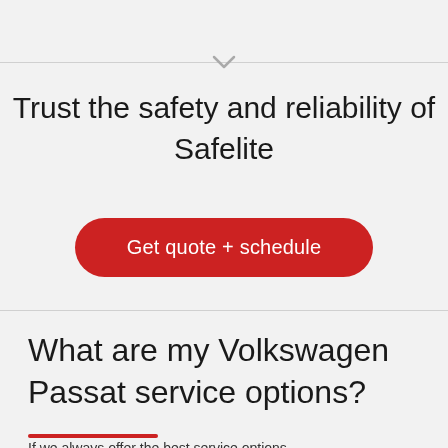Trust the safety and reliability of Safelite
Get quote + schedule
What are my Volkswagen Passat service options?
If we always offer the best...